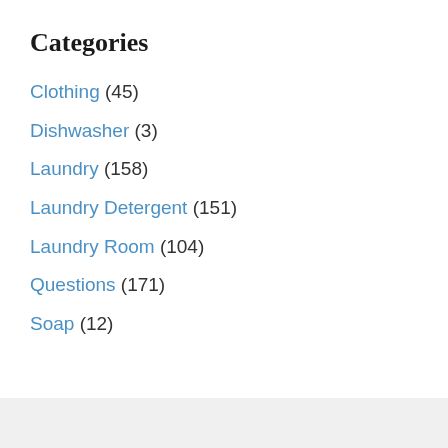Categories
Clothing (45)
Dishwasher (3)
Laundry (158)
Laundry Detergent (151)
Laundry Room (104)
Questions (171)
Soap (12)